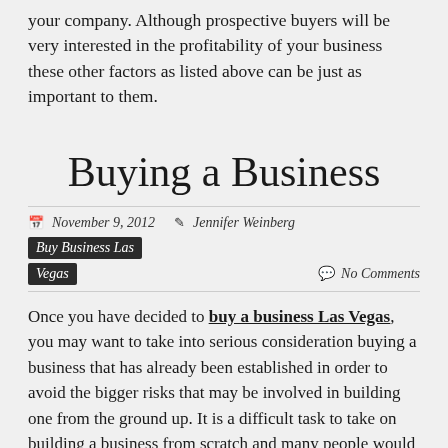your company. Although prospective buyers will be very interested in the profitability of your business these other factors as listed above can be just as important to them.
Buying a Business
November 9, 2012   Jennifer Weinberg   Buy Business Las Vegas   No Comments
Once you have decided to buy a business Las Vegas, you may want to take into serious consideration buying a business that has already been established in order to avoid the bigger risks that may be involved in building one from the ground up. It is a difficult task to take on building a business from scratch and many people would prefer to buy a business that already has the foundation laid in